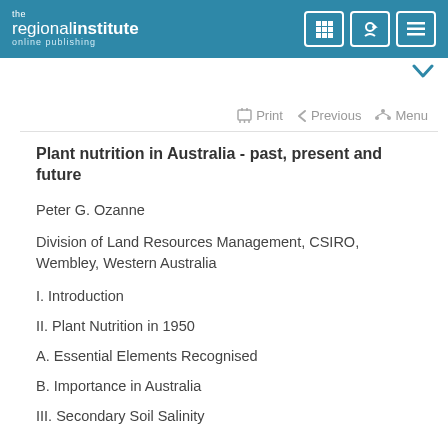the regional institute online publishing
Plant nutrition in Australia - past, present and future
Peter G. Ozanne
Division of Land Resources Management, CSIRO, Wembley, Western Australia
I. Introduction
II. Plant Nutrition in 1950
A. Essential Elements Recognised
B. Importance in Australia
III. Secondary Soil Salinity